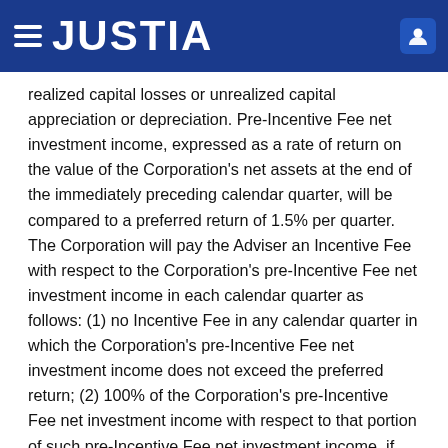JUSTIA
realized capital losses or unrealized capital appreciation or depreciation. Pre-Incentive Fee net investment income, expressed as a rate of return on the value of the Corporation's net assets at the end of the immediately preceding calendar quarter, will be compared to a preferred return of 1.5% per quarter. The Corporation will pay the Adviser an Incentive Fee with respect to the Corporation's pre-Incentive Fee net investment income in each calendar quarter as follows: (1) no Incentive Fee in any calendar quarter in which the Corporation's pre-Incentive Fee net investment income does not exceed the preferred return; (2) 100% of the Corporation's pre-Incentive Fee net investment income with respect to that portion of such pre-Incentive Fee net investment income, if any, that exceeds the